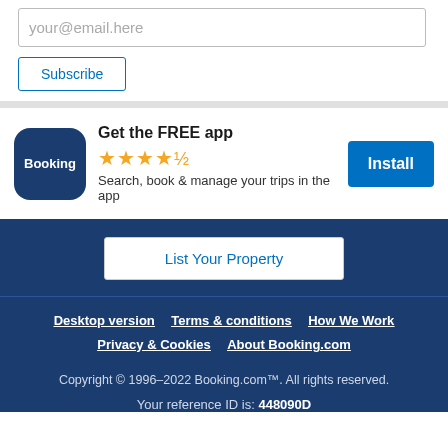your@email.here
Subscribe
[Figure (logo): Booking.com app icon — dark navy rounded square with 'Booking' text in white]
Get the FREE app
★★★★½
Search, book & manage your trips in the app
Install
List Your Property
Desktop version   Terms & conditions   How We Work
Privacy & Cookies   About Booking.com
Copyright © 1996–2022 Booking.com™. All rights reserved.
Your reference ID is: 448090D